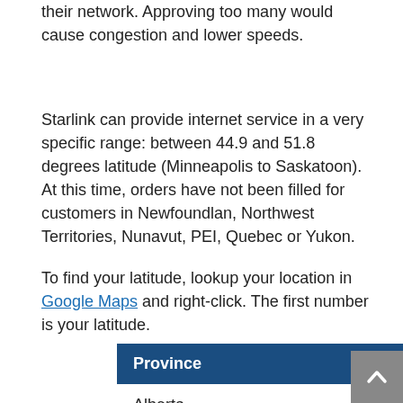their network. Approving too many would cause congestion and lower speeds.
Starlink can provide internet service in a very specific range: between 44.9 and 51.8 degrees latitude (Minneapolis to Saskatoon). At this time, orders have not been filled for customers in Newfoundlan, Northwest Territories, Nunavut, PEI, Quebec or Yukon.
To find your latitude, lookup your location in Google Maps and right-click. The first number is your latitude.
| Province | Latitudes (°N) |
| --- | --- |
| Alberta | 49.0 – 51.5 |
| British Columbia | 48.4 – 51.7 |
| Manitoba | 49.0 – 51.1 |